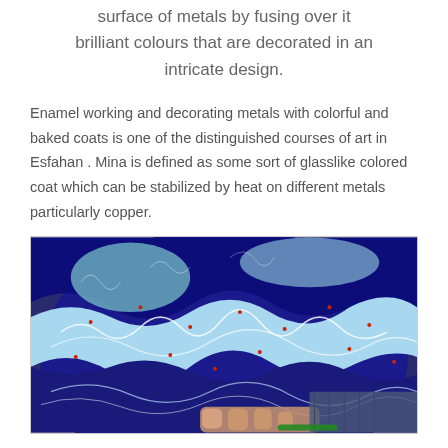surface of metals by fusing over it brilliant colours that are decorated in an intricate design.
Enamel working and decorating metals with colorful and baked coats is one of the distinguished courses of art in Esfahan . Mina is defined as some sort of glasslike colored coat which can be stabilized by heat on different metals particularly copper.
[Figure (photo): Close-up photo of an intricate blue enamel (Mina) plate with elaborate floral and arabesque patterns in shades of royal blue, turquoise, and white, with a person's hands holding the plate]